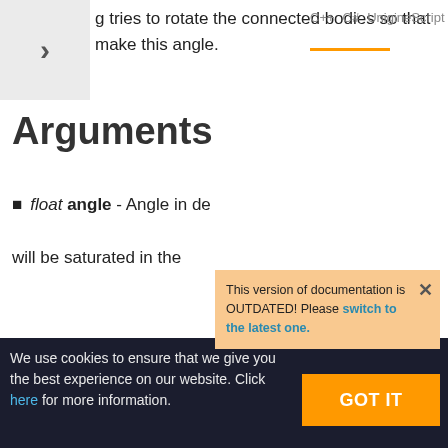g tries to rotate the connected bodies so that make this angle.
C++  C#  UnigineScript
Arguments
float angle - Angle in degrees. The value will be saturated in the ...
This version of documentation is OUTDATED! Please switch to the latest one.
float getAngularAngle
We use cookies to ensure that we give you the best experience on our website. Click here for more information.
GOT IT